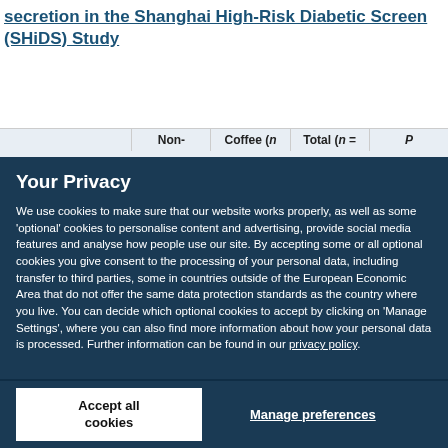secretion in the Shanghai High-Risk Diabetic Screen (SHiDS) Study
|  | Non- | Coffee (n | Total (n = | P |
| --- | --- | --- | --- | --- |
Your Privacy
We use cookies to make sure that our website works properly, as well as some 'optional' cookies to personalise content and advertising, provide social media features and analyse how people use our site. By accepting some or all optional cookies you give consent to the processing of your personal data, including transfer to third parties, some in countries outside of the European Economic Area that do not offer the same data protection standards as the country where you live. You can decide which optional cookies to accept by clicking on 'Manage Settings', where you can also find more information about how your personal data is processed. Further information can be found in our privacy policy.
Accept all cookies
Manage preferences